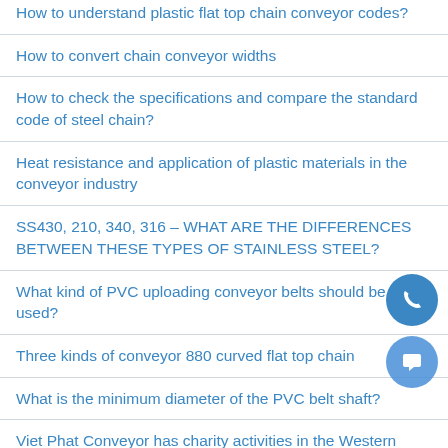How to understand plastic flat top chain conveyor codes?
How to convert chain conveyor widths
How to check the specifications and compare the standard code of steel chain?
Heat resistance and application of plastic materials in the conveyor industry
SS430, 210, 340, 316 – WHAT ARE THE DIFFERENCES BETWEEN THESE TYPES OF STAINLESS STEEL?
What kind of PVC uploading conveyor belts should be used?
Three kinds of conveyor 880 curved flat top chain
What is the minimum diameter of the PVC belt shaft?
Viet Phat Conveyor has charity activities in the Western